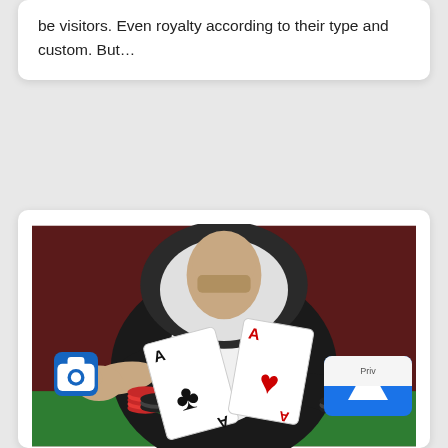be visitors. Even royalty according to their type and custom. But…
[Figure (photo): A man wearing a black hoodie and white t-shirt sitting at a green poker table, tossing two aces (ace of clubs and ace of hearts) into the air with one hand outstretched. Poker chips (red, green, black) are stacked on the table. UI overlays include a blue camera icon badge and a partially visible blue navigation button.]